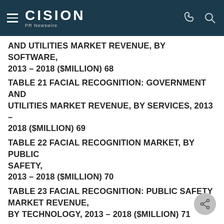CISION PR Newswire
AND UTILITIES MARKET REVENUE, BY SOFTWARE, 2013 – 2018 ($MILLION) 68
TABLE 21 FACIAL RECOGNITION: GOVERNMENT AND UTILITIES MARKET REVENUE, BY SERVICES, 2013 – 2018 ($MILLION) 69
TABLE 22 FACIAL RECOGNITION MARKET, BY PUBLIC SAFETY, 2013 – 2018 ($MILLION) 70
TABLE 23 FACIAL RECOGNITION: PUBLIC SAFETY MARKET REVENUE, BY TECHNOLOGY, 2013 – 2018 ($MILLION) 71
TABLE 24 FACIAL RECOGNITION: PUBLIC SAFETY MARKET REVENUE, BY SOFTWARE, 2013 – 2018 ($MILLION) 72